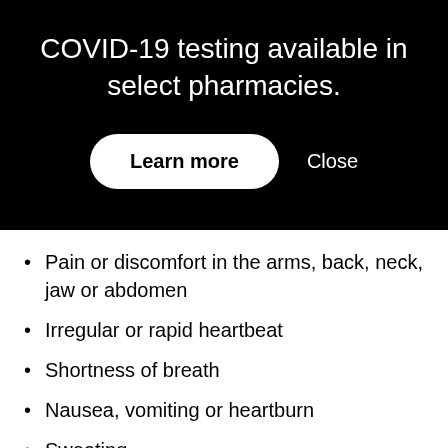COVID-19 testing available in select pharmacies.
Learn more
Close
Pain or discomfort in the arms, back, neck, jaw or abdomen
Irregular or rapid heartbeat
Shortness of breath
Nausea, vomiting or heartburn
Sweating
Light-headedness
What should I do?